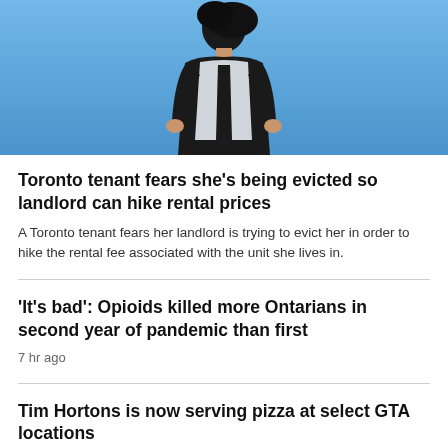[Figure (photo): A person standing outdoors against a clear blue sky, wearing a black top and a light-colored vest, looking down at the camera.]
Toronto tenant fears she's being evicted so landlord can hike rental prices
A Toronto tenant fears her landlord is trying to evict her in order to hike the rental fee associated with the unit she lives in.
'It's bad': Opioids killed more Ontarians in second year of pandemic than first
7 hr ago
Tim Hortons is now serving pizza at select GTA locations